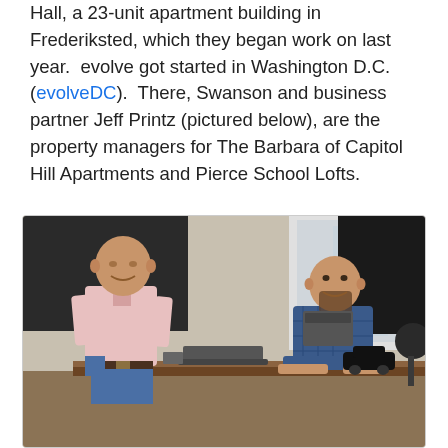Hall, a 23-unit apartment building in Frederiksted, which they began work on last year.  evolve got started in Washington D.C. (evolveDC).  There, Swanson and business partner Jeff Printz (pictured below), are the property managers for The Barbara of Capitol Hill Apartments and Pierce School Lofts.
[Figure (photo): Two men standing and sitting in an office. The man on the left is bald, wearing a pink/white plaid shirt and jeans, standing. The man on the right is seated at a wooden desk, wearing a blue plaid shirt, with a model black SUV on the desk.]